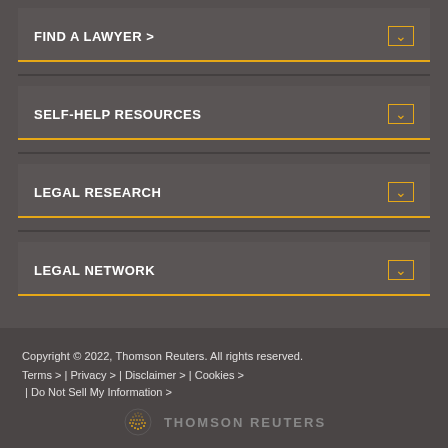FIND A LAWYER >
SELF-HELP RESOURCES
LEGAL RESEARCH
LEGAL NETWORK
Copyright © 2022, Thomson Reuters. All rights reserved. Terms > | Privacy > | Disclaimer > | Cookies > | Do Not Sell My Information >